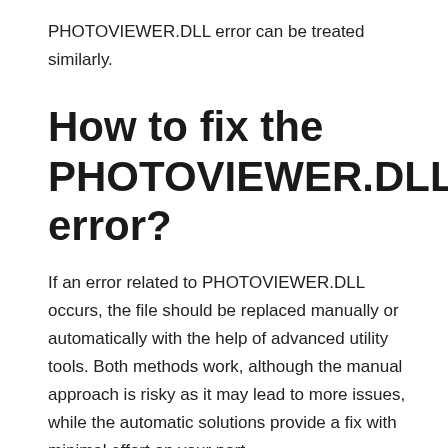PHOTOVIEWER.DLL error can be treated similarly.
How to fix the PHOTOVIEWER.DLL error?
If an error related to PHOTOVIEWER.DLL occurs, the file should be replaced manually or automatically with the help of advanced utility tools. Both methods work, although the manual approach is risky as it may lead to more issues, while the automatic solutions provide a fix with minimal effort on your part.